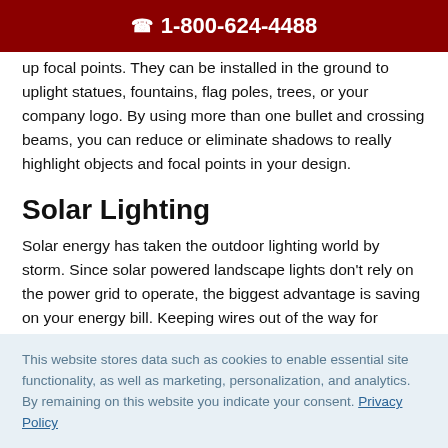☎ 1-800-624-4488
up focal points. They can be installed in the ground to uplight statues, fountains, flag poles, trees, or your company logo. By using more than one bullet and crossing beams, you can reduce or eliminate shadows to really highlight objects and focal points in your design.
Solar Lighting
Solar energy has taken the outdoor lighting world by storm. Since solar powered landscape lights don't rely on the power grid to operate, the biggest advantage is saving on your energy bill. Keeping wires out of the way for mowers and weed
This website stores data such as cookies to enable essential site functionality, as well as marketing, personalization, and analytics. By remaining on this website you indicate your consent. Privacy Policy